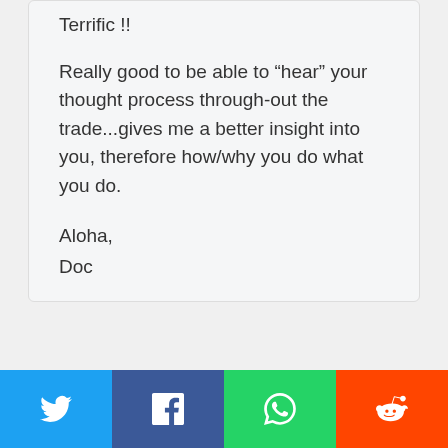Terrific !!
Really good to be able to “hear” your thought process through-out the trade...gives me a better insight into you, therefore how/why you do what you do.
Aloha,
Doc
[Figure (other): Social media share buttons: Twitter (blue), Facebook (dark blue), WhatsApp (green), Reddit (orange-red)]